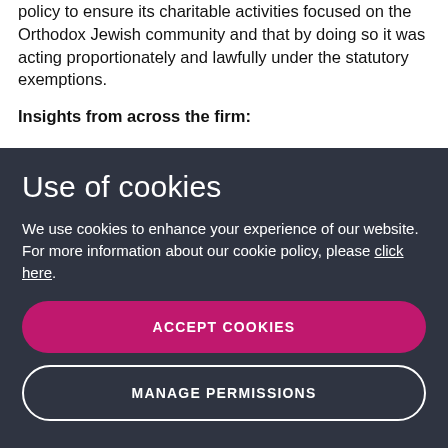policy to ensure its charitable activities focused on the Orthodox Jewish community and that by doing so it was acting proportionately and lawfully under the statutory exemptions.
Insights from across the firm:
Use of cookies
We use cookies to enhance your experience of our website. For more information about our cookie policy, please click here.
ACCEPT COOKIES
MANAGE PERMISSIONS